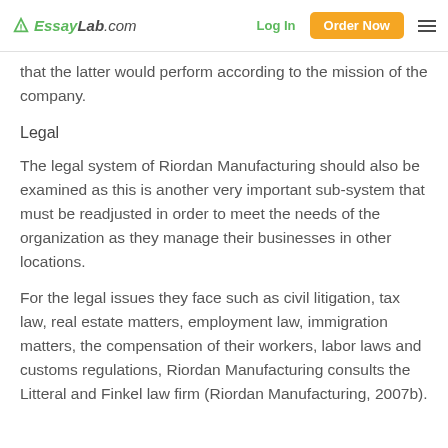EssayLab.com | Log In | Order Now
that the latter would perform according to the mission of the company.
Legal
The legal system of Riordan Manufacturing should also be examined as this is another very important sub-system that must be readjusted in order to meet the needs of the organization as they manage their businesses in other locations.
For the legal issues they face such as civil litigation, tax law, real estate matters, employment law, immigration matters, the compensation of their workers, labor laws and customs regulations, Riordan Manufacturing consults the Litteral and Finkel law firm (Riordan Manufacturing, 2007b).